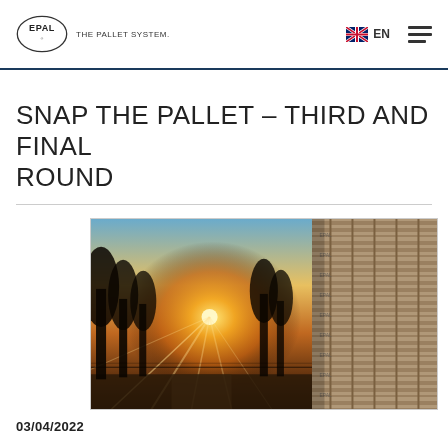EPAL THE PALLET SYSTEM. EN
SNAP THE PALLET – THIRD AND FINAL ROUND
[Figure (photo): Split image: left side shows a sunset with golden light rays streaming through silhouetted trees on a road; right side shows a close-up of stacked wooden EPAL pallets with visible markings.]
03/04/2022